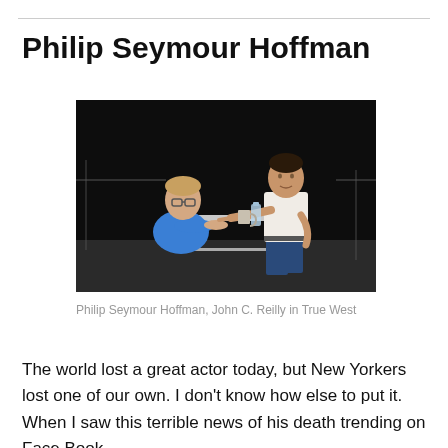Philip Seymour Hoffman
[Figure (photo): Philip Seymour Hoffman and John C. Reilly on stage in a theatrical production of True West. Two men facing each other across a table, one seated in a blue polo shirt with glasses, one standing in a white tank top pointing his finger.]
Philip Seymour Hoffman, John C. Reilly in True West
The world lost a great actor today, but New Yorkers lost one of our own. I don't know how else to put it. When I saw this terrible news of his death trending on Face Book